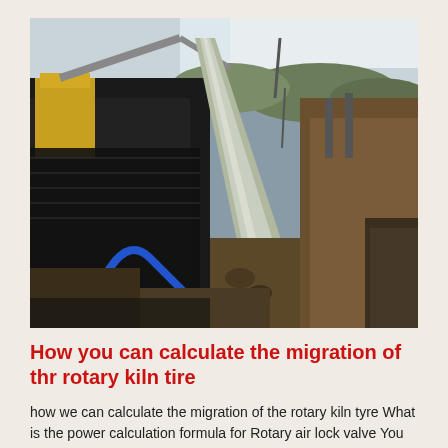[Figure (photo): Industrial construction site showing a long conveyor belt or concrete channel running diagonally into the distance, flanked by excavated earth walls. Heavy machinery including an excavator is visible on the left side. The scene appears to be a mining or quarrying operation with disturbed earth, rocks, and equipment.]
How you can calculate the migration of thr rotary kiln tire
how we can calculate the migration of the rotary kiln tyre What is the power calculation formula for Rotary air lock valve You need to know the torque then...